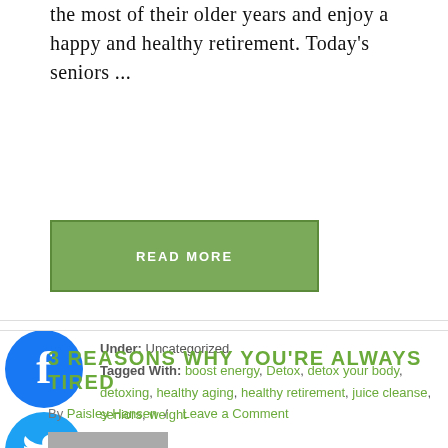the most of their older years and enjoy a happy and healthy retirement. Today's seniors ...
READ MORE
Under: Uncategorized
Tagged With: boost energy, Detox, detox your body, detoxing, healthy aging, healthy retirement, juice cleanse, seniors, weight
[Figure (illustration): Facebook social share icon (blue circle with white F)]
[Figure (illustration): Twitter social share icon (blue circle with white bird)]
[Figure (illustration): Pinterest social share icon (red circle with white P)]
3 REASONS WHY YOU'RE ALWAYS TIRED
By Paisley Hansen / Leave a Comment
[Figure (photo): Partial thumbnail image at bottom of page]